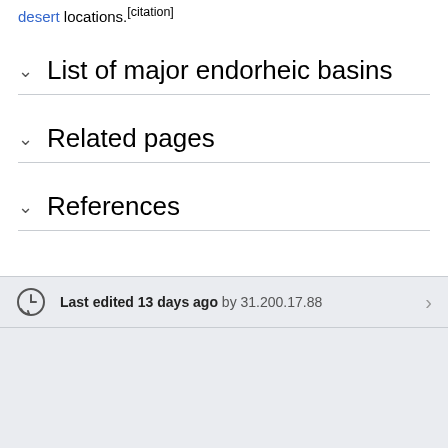desert locations.[citation]
List of major endorheic basins
Related pages
References
Last edited 13 days ago by 31.200.17.88